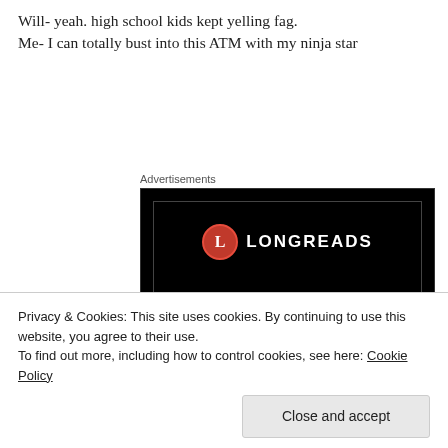Will- yeah. high school kids kept yelling fag.
Me- I can totally bust into this ATM with my ninja star
Advertisements
[Figure (screenshot): Longreads advertisement banner with red circle logo, white text 'Read anything great lately?' and red 'Start reading' button on black background]
Privacy & Cookies: This site uses cookies. By continuing to use this website, you agree to their use.
To find out more, including how to control cookies, see here: Cookie Policy
Close and accept